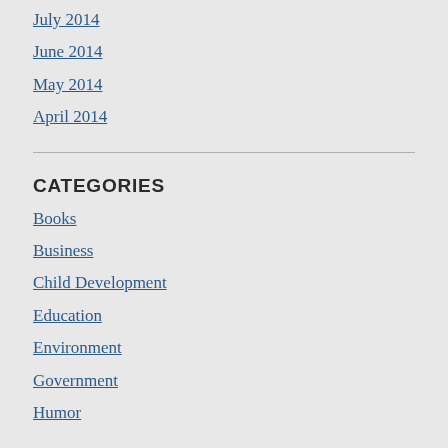July 2014
June 2014
May 2014
April 2014
CATEGORIES
Books
Business
Child Development
Education
Environment
Government
Humor